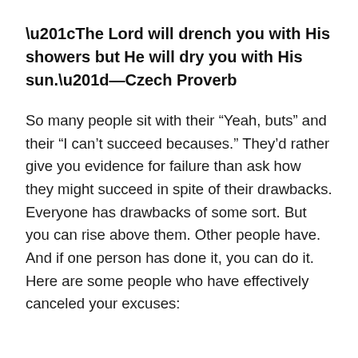“The Lord will drench you with His showers but He will dry you with His sun.”—Czech Proverb
So many people sit with their “Yeah, buts” and their “I can’t succeed becauses.” They’d rather give you evidence for failure than ask how they might succeed in spite of their drawbacks. Everyone has drawbacks of some sort. But you can rise above them. Other people have. And if one person has done it, you can do it. Here are some people who have effectively canceled your excuses: